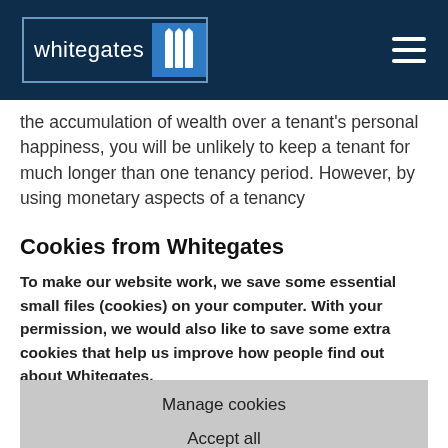whitegates
the accumulation of wealth over a tenant's personal happiness, you will be unlikely to keep a tenant for much longer than one tenancy period. However, by using monetary aspects of a tenancy
Cookies from Whitegates
To make our website work, we save some essential small files (cookies) on your computer. With your permission, we would also like to save some extra cookies that help us improve how people find out about Whitegates.
Read more about our cookies
Manage cookies
Accept all